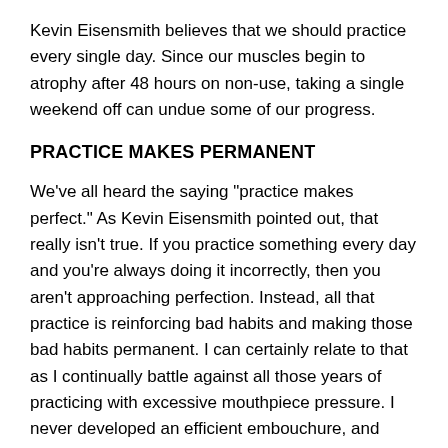Kevin Eisensmith believes that we should practice every single day. Since our muscles begin to atrophy after 48 hours on non-use, taking a single weekend off can undue some of our progress.
PRACTICE MAKES PERMANENT
We've all heard the saying "practice makes perfect." As Kevin Eisensmith pointed out, that really isn't true. If you practice something every day and you're always doing it incorrectly, then you aren't approaching perfection. Instead, all that practice is reinforcing bad habits and making those bad habits permanent. I can certainly relate to that as I continually battle against all those years of practicing with excessive mouthpiece pressure. I never developed an efficient embouchure, and often I wonder if I ever will. Are those bad habits truly permanent? Probably not, but they are certainly hard to change now.